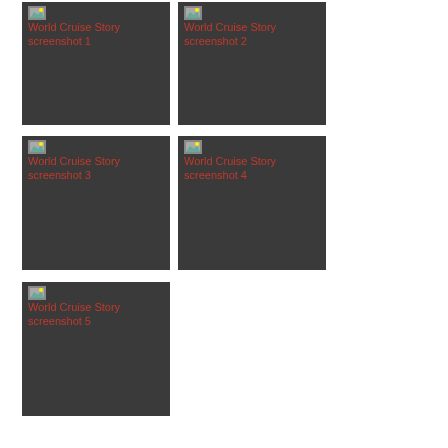[Figure (screenshot): World Cruise Story screenshot 1 - broken image placeholder on dark background]
[Figure (screenshot): World Cruise Story screenshot 2 - broken image placeholder on dark background]
[Figure (screenshot): World Cruise Story screenshot 3 - broken image placeholder on dark background]
[Figure (screenshot): World Cruise Story screenshot 4 - broken image placeholder on dark background]
[Figure (screenshot): World Cruise Story screenshot 5 - broken image placeholder on dark background]